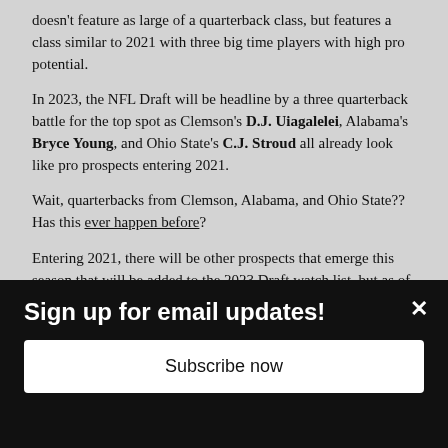doesn't feature as large of a quarterback class, but features a class similar to 2021 with three big time players with high pro potential.
In 2023, the NFL Draft will be headline by a three quarterback battle for the top spot as Clemson's D.J. Uiagalelei, Alabama's Bryce Young, and Ohio State's C.J. Stroud all already look like pro prospects entering 2021.
Wait, quarterbacks from Clemson, Alabama, and Ohio State?? Has this ever happen before?
Entering 2021, there will be other prospects that emerge this season that will be added to the 2023 Draft watch list, but as of now, it's hard to imagine anyone passing up that trio.
The 2023 NFL Draft could be the next to feature three straight
Sign up for email updates!
Subscribe now